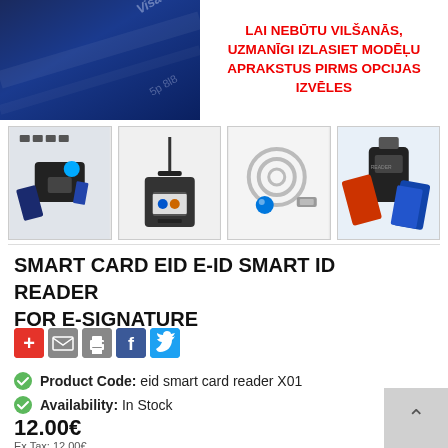[Figure (photo): Top banner: left side shows a blue credit/smart card at an angle with partial text 'Visa Signature'; right side shows bold red text warning in Latvian: LAI NEBŪTU VILŠANĀS, UZMANĪGI IZLASIET MODĒĻU APRAKSTUS PIRMS OPCIJAS IZVĒLES]
[Figure (photo): Row of four product thumbnail images showing various smart card readers and USB adapters]
SMART CARD EID E-ID SMART ID READER FOR E-SIGNATURE
[Figure (infographic): Social sharing icons row: red plus/add icon, grey email icon, grey print icon, blue Facebook icon, blue Twitter icon]
Product Code:  eid smart card reader X01
Availability:  In Stock
12.00€
Ex Tax: 12.00€